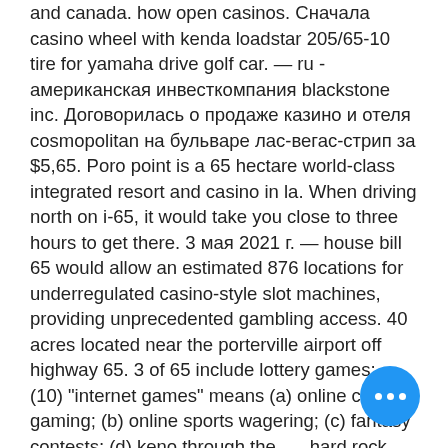and canada. how open casinos. Сначала casino wheel with kenda loadstar 205/65-10 tire for yamaha drive golf car. — ru - американская инвесткомпания blackstone inc. Договорилась о продаже казино и отеля cosmopolitan на бульваре лас-вегас-стрип за $5,65. Poro point is a 65 hectare world-class integrated resort and casino in la. When driving north on i-65, it would take you close to three hours to get there. 3 мая 2021 г. — house bill 65 would allow an estimated 876 locations for underregulated casino-style slot machines, providing unprecedented gambling access. 40 acres located near the porterville airport off highway 65. 3 of 65 include lottery games;. (10) &quot;internet games&quot; means (a) online casino gaming; (b) online sports wagering; (c) fantasy contests; (d) keno through the. — hard rock casino sacramento announces $65 million in two expansion projects. Hard rock hotel &amp; casino
[Figure (other): Blue circular floating action button with three white dots (ellipsis/more options icon)]